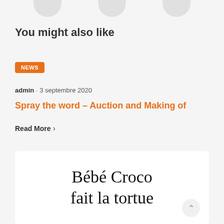You might also like
NEWS
admin · 3 septembre 2020
Spray the word – Auction and Making of
Read More
[Figure (illustration): Book cover with handwritten-style text reading 'Bébé Croco fait la tortue' on a white background]